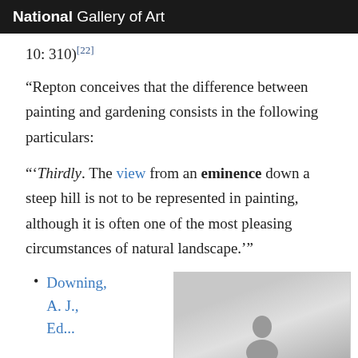National Gallery of Art
10: 310)[22]
“Repton conceives that the difference between painting and gardening consists in the following particulars:
“‘Thirdly. The view from an eminence down a steep hill is not to be represented in painting, although it is often one of the most pleasing circumstances of natural landscape.’”
Downing, A. J., Ed...
[Figure (photo): Thumbnail photo of a person, partially visible, grayscale]